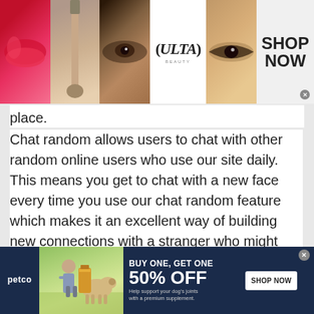[Figure (screenshot): ULTA Beauty advertisement banner at top of page showing makeup imagery (lips, brush, eye), ULTA logo, model eye, and SHOP NOW button]
place.
Chat random allows users to chat with other random online users who use our site daily. This means you get to chat with a new face every time you use our chat random feature which makes it an excellent way of building new connections with a stranger who might share the same interests as you do. You could even chat with them about new topics or issues that you did not know about.
Random chat features enable the youth, or teenagers to join a chatroom and speak with someone of their age
[Figure (screenshot): Petco advertisement banner at bottom showing BUY ONE, GET ONE 50% OFF offer for dog joint supplement, with SHOP NOW button]